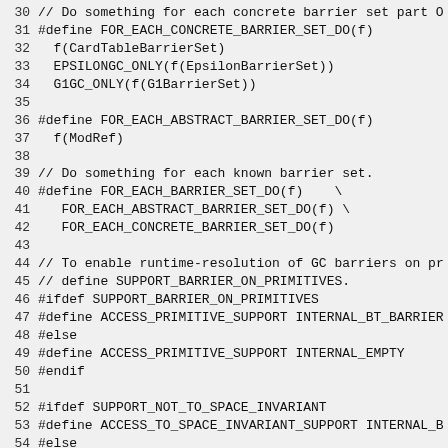30 // Do something for each concrete barrier set part O
31 #define FOR_EACH_CONCRETE_BARRIER_SET_DO(f)
32   f(CardTableBarrierSet)
33   EPSILONGC_ONLY(f(EpsilonBarrierSet))
34   G1GC_ONLY(f(G1BarrierSet))
35
36 #define FOR_EACH_ABSTRACT_BARRIER_SET_DO(f)
37   f(ModRef)
38
39 // Do something for each known barrier set.
40 #define FOR_EACH_BARRIER_SET_DO(f)    \
41    FOR_EACH_ABSTRACT_BARRIER_SET_DO(f) \
42    FOR_EACH_CONCRETE_BARRIER_SET_DO(f)
43
44 // To enable runtime-resolution of GC barriers on pr
45 // define SUPPORT_BARRIER_ON_PRIMITIVES.
46 #ifdef SUPPORT_BARRIER_ON_PRIMITIVES
47 #define ACCESS_PRIMITIVE_SUPPORT INTERNAL_BT_BARRIER
48 #else
49 #define ACCESS_PRIMITIVE_SUPPORT INTERNAL_EMPTY
50 #endif
51
52 #ifdef SUPPORT_NOT_TO_SPACE_INVARIANT
53 #define ACCESS_TO_SPACE_INVARIANT_SUPPORT INTERNAL_B
54 #else
55 #define ACCESS_TO_SPACE_INVARIANT_SUPPORT INTERNAL_E
56 #endif
57
58 #define BT_BUILDTIME_DECORATORS (ACCESS_PRIMITIVE_SU
59